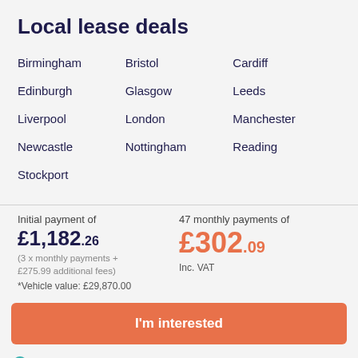Local lease deals
Birmingham
Bristol
Cardiff
Edinburgh
Glasgow
Leeds
Liverpool
London
Manchester
Newcastle
Nottingham
Reading
Stockport
Initial payment of
£1,182.26
(3 x monthly payments + £275.99 additional fees)
*Vehicle value: £29,870.00
47 monthly payments of
£302.09
Inc. VAT
I'm interested
Fill in the form and get your personalised offer. The advertiser will confirm final offer details.